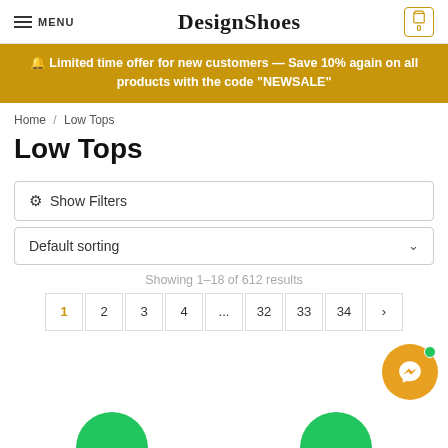MENU | DesignShoes | Cart 0
🔔 Limited time offer for new customers — Save 10% again on all products with the code "NEWSALE"
Home / Low Tops
Low Tops
⚙ Show Filters
Default sorting
Showing 1–18 of 612 results
1 2 3 4 ... 32 33 34 >